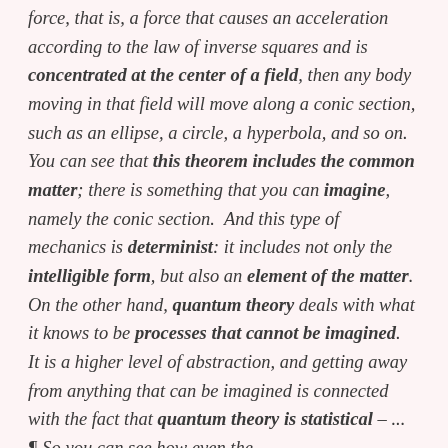force, that is, a force that causes an acceleration according to the law of inverse squares and is concentrated at the center of a field, then any body moving in that field will move along a conic section, such as an ellipse, a circle, a hyperbola, and so on.  You can see that this theorem includes the common matter; there is something that you can imagine, namely the conic section.  And this type of mechanics is determinist: it includes not only the intelligible form, but also an element of the matter.  On the other hand, quantum theory deals with what it knows to be processes that cannot be imagined.  It is a higher level of abstraction, and getting away from anything that can be imagined is connected with the fact that quantum theory is statistical – ...  ¶ So you can see how even the